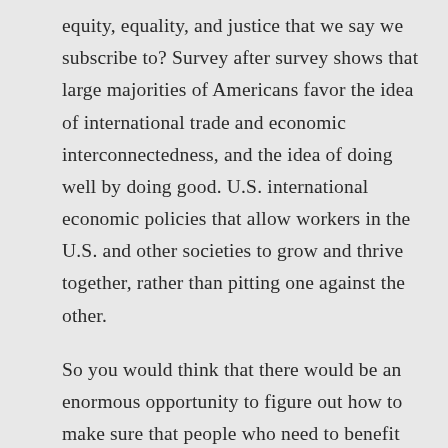equity, equality, and justice that we say we subscribe to? Survey after survey shows that large majorities of Americans favor the idea of international trade and economic interconnectedness, and the idea of doing well by doing good. U.S. international economic policies that allow workers in the U.S. and other societies to grow and thrive together, rather than pitting one against the other.

So you would think that there would be an enormous opportunity to figure out how to make sure that people who need to benefit from trade at home and abroad actually do. Which brings us to your question of why women, because women, of course, are a majority of the global population, but